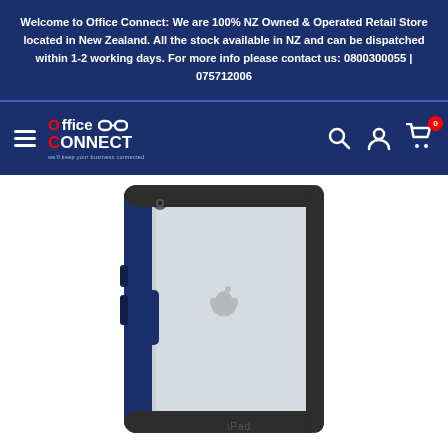Welcome to Office Connect: We are 100% NZ Owned & Operated Retail Store located in New Zealand. All the stock available in NZ and can be dispatched within 1-2 working days. For more info please contact us: 0800300055 | 075712006
[Figure (logo): Office Connect logo with red O and red C, white text, chain link icon]
[Figure (photo): iPad case product photo showing back of iPad in a navy blue protective case with clear back panel and dark bumper frame, Apple logo visible, iPad text at bottom]